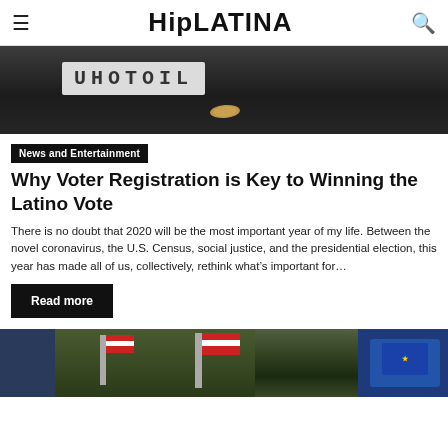HipLATINA
[Figure (photo): Dark background photo showing a lightbox sign spelling UHOTOIL with a coin or small object in front on a dark table surface.]
News and Entertainment
Why Voter Registration is Key to Winning the Latino Vote
There is no doubt that 2020 will be the most important year of my life. Between the novel coronavirus, the U.S. Census, social justice, and the presidential election, this year has made all of us, collectively, rethink what’s important for…
Read more
[Figure (photo): Photo showing American flags among green foliage with a blue tote bag on the right side.]